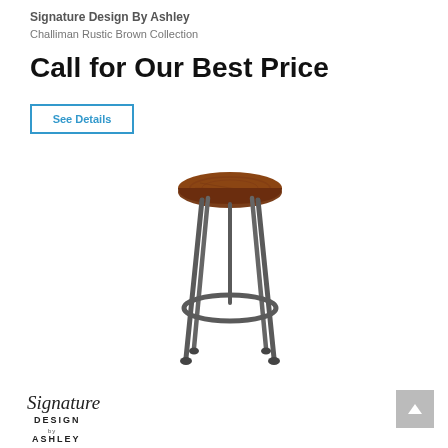Signature Design By Ashley
Challiman Rustic Brown Collection
Call for Our Best Price
See Details
[Figure (photo): A bar stool with a round rustic brown wooden seat on metal legs with a circular footrest ring and caster-style feet on a white background.]
[Figure (logo): Signature Design by Ashley cursive logo with DESIGN and ASHLEY text below.]